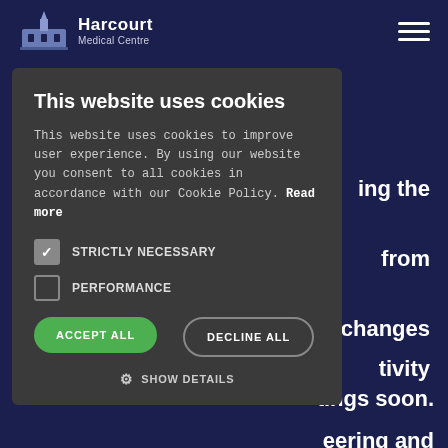Harcourt Medical Centre
The aims of the group are to:
ing the
from
changes
tivity
tings soon.
eering and
ase email
ication
This website uses cookies
This website uses cookies to improve user experience. By using our website you consent to all cookies in accordance with our Cookie Policy. Read more
STRICTLY NECESSARY
PERFORMANCE
ACCEPT ALL
DECLINE ALL
SHOW DETAILS